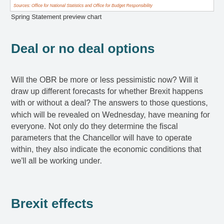Sources: Office for National Statistics and Office for Budget Responsibility
Spring Statement preview chart
Deal or no deal options
Will the OBR be more or less pessimistic now? Will it draw up different forecasts for whether Brexit happens with or without a deal? The answers to those questions, which will be revealed on Wednesday, have meaning for everyone. Not only do they determine the fiscal parameters that the Chancellor will have to operate within, they also indicate the economic conditions that we’ll all be working under.
Brexit effects